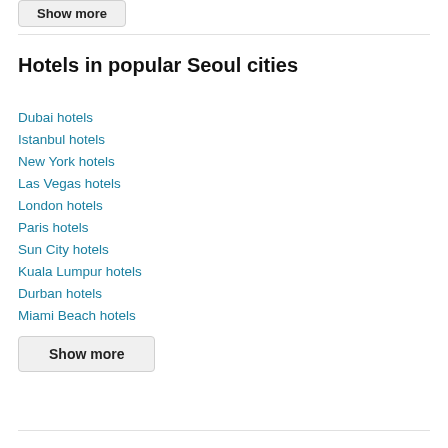Show more
Hotels in popular Seoul cities
Dubai hotels
Istanbul hotels
New York hotels
Las Vegas hotels
London hotels
Paris hotels
Sun City hotels
Kuala Lumpur hotels
Durban hotels
Miami Beach hotels
Show more